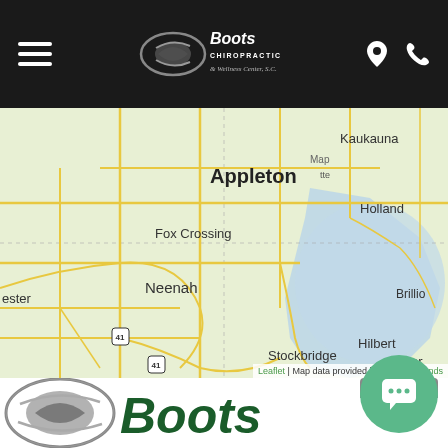[Figure (screenshot): Navigation bar with hamburger menu on left, Boots Chiropractic & Wellness Center logo in center, location pin and phone icons on right, black background]
[Figure (map): Leaflet map showing Appleton, Wisconsin area with surrounding cities: Kaukauna, Holland, Fox Crossing, Neenah, Hilbert, Potter, Brillion, Stockbridge, ester (partial). Roads shown in yellow/gold on light green background. Lake/water body visible in center-right area.]
Leaflet | Map data provided by Internet Brands
[Figure (logo): Boots Chiropractic & Wellness Center logo - large version with grey swoosh emblem and green 'Boots' text, partially cropped at bottom of page]
[Figure (other): Green circular chat button with white speech bubble icon]